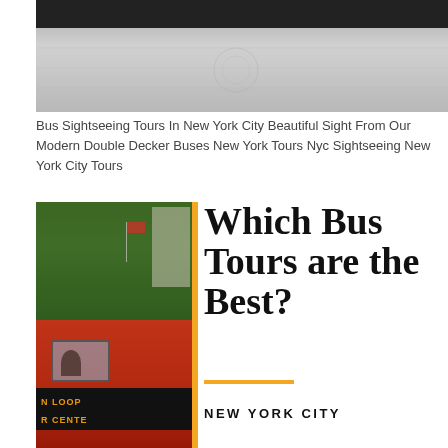[Figure (photo): Top-down or wide-angle photo of a paved plaza or street surface, with a dark object partially visible at the top edge.]
Bus Sightseeing Tours In New York City Beautiful Sight From Our Modern Double Decker Buses New York Tours Nyc Sightseeing New York City Tours
[Figure (photo): Photo of a red double-decker bus on a city street with green trees and a tall building in the background. A flag is visible. The bus displays 'N LOOP' and 'R CENTE' on a sign at the bottom.]
Which Bus Tours are the Best?
NEW YORK CITY